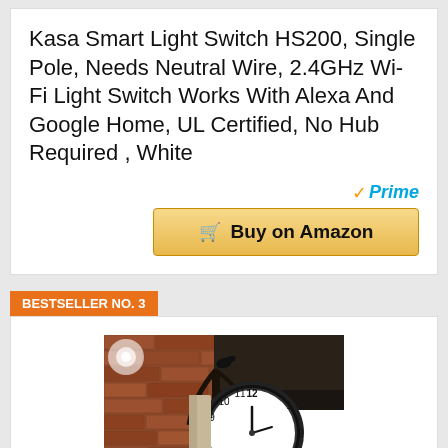Kasa Smart Light Switch HS200, Single Pole, Needs Neutral Wire, 2.4GHz Wi-Fi Light Switch Works With Alexa And Google Home, UL Certified, No Hub Required , White
[Figure (other): Amazon Prime badge with checkmark and 'Prime' text in blue italic, followed by a golden 'Buy on Amazon' button with shopping cart icon]
BESTSELLER NO. 3
[Figure (photo): Photo of a vintage double-sided clock mounted on an ornate iron bracket attached to a brick wall, showing a classic white clock face with black numerals]